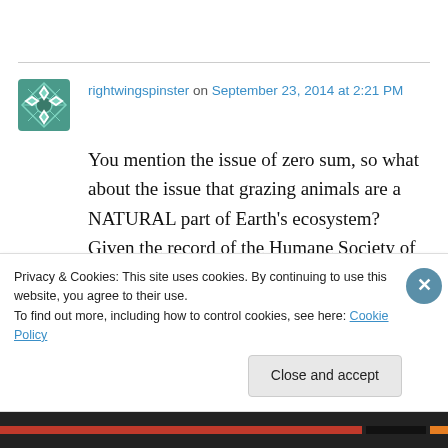[Figure (logo): Decorative avatar icon with geometric pattern in teal/green]
rightwingspinster on September 23, 2014 at 2:21 PM
You mention the issue of zero sum, so what about the issue that grazing animals are a NATURAL part of Earth's ecosystem? Given the record of the Humane Society of the United States, they will be the first ones out there offering to euthanize all these extra cows (I don't
Privacy & Cookies: This site uses cookies. By continuing to use this website, you agree to their use.
To find out more, including how to control cookies, see here: Cookie Policy